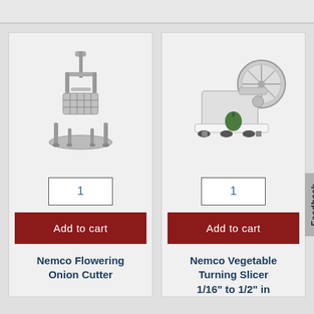[Figure (photo): Nemco Flowering Onion Cutter - a stainless steel manual onion cutter with handle and base]
1
Add to cart
Nemco Flowering Onion Cutter
[Figure (photo): Nemco Vegetable Turning Slicer - a commercial tabletop vegetable slicer with circular blade and suction cup base, shown with a green pepper]
1
Add to cart
Nemco Vegetable Turning Slicer 1/16" to 1/2" in